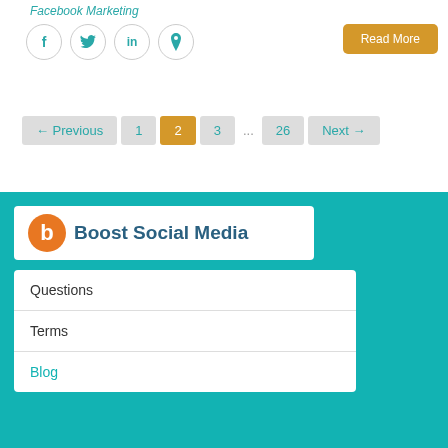Facebook Marketing
[Figure (illustration): Social media share icons: Facebook (f), Twitter (bird), LinkedIn (in), Pinterest (p) — circular outlined icons in teal]
Read More
← Previous  1  2  3  ...  26  Next →
[Figure (logo): Boost Social Media logo: orange circle with white b, followed by bold teal text 'Boost Social Media']
Questions
Terms
Blog